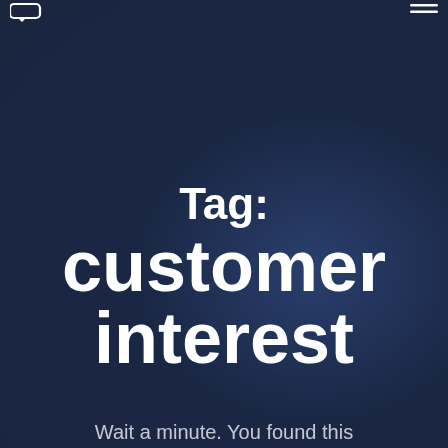[logo] [menu]
Tag: customer interest
Wait a minute. You found this